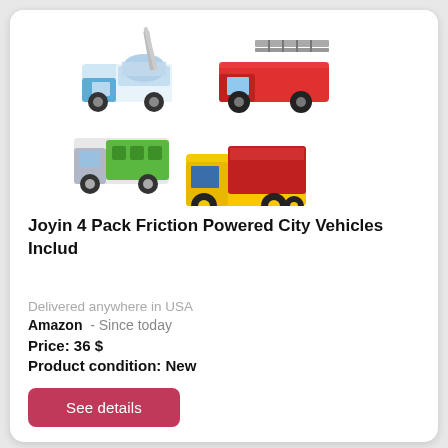[Figure (photo): Four toy friction-powered city vehicles: a cement/crane truck (white/blue), a fire truck (red with ladder), a garbage truck (white/green), and a dump truck (yellow/red).]
Joyin 4 Pack Friction Powered City Vehicles Includ
Delivered anywhere in USA
Amazon  - Since today
Price: 36 $
Product condition: New
See details